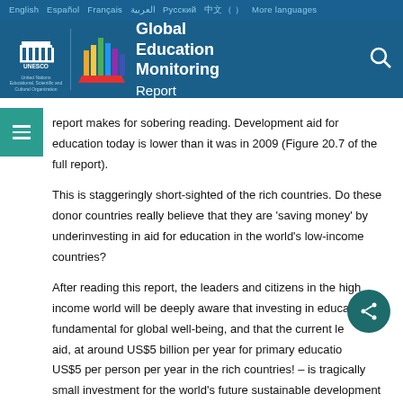English  Español  Français  العربية  Русский  中文 ( ) More languages
[Figure (logo): UNESCO and Global Education Monitoring Report logo on dark blue background with colorful bar chart graphic]
report makes for sobering reading. Development aid for education today is lower than it was in 2009 (Figure 20.7 of the full report).
This is staggeringly short-sighted of the rich countries. Do these donor countries really believe that they are 'saving money' by underinvesting in aid for education in the world's low-income countries?
After reading this report, the leaders and citizens in the high income world will be deeply aware that investing in education is fundamental for global well-being, and that the current level of aid, at around US$5 billion per year for primary education – US$5 per person per year in the rich countries! – is tragically small investment for the world's future sustainable development